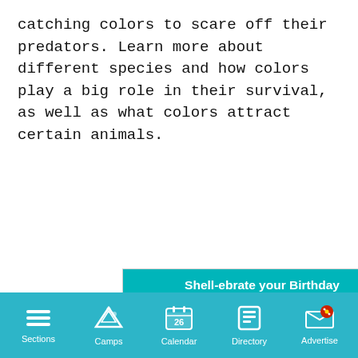catching colors to scare off their predators. Learn more about different species and how colors play a big role in their survival, as well as what colors attract certain animals.
[Figure (screenshot): Zoo & Aquarium birthday party advertisement showing two seals/sea lions with teal header and 'Shell-ebrate your Birthday At the Zoo & Aquarium!' text, overlapping a tennis academy ad for 'FREE Kids Days tennis class!' with Advantage QuickStart Tennis logo]
[Figure (screenshot): Bottom navigation bar with teal background showing icons for Sections (hamburger menu), Camps (tent), Calendar (26), Directory (book), and Advertise (envelope with decorations)]